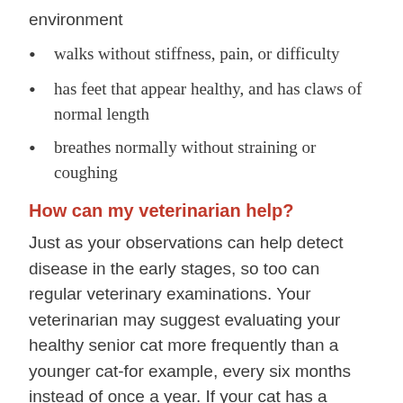environment
walks without stiffness, pain, or difficulty
has feet that appear healthy, and has claws of normal length
breathes normally without straining or coughing
How can my veterinarian help?
Just as your observations can help detect disease in the early stages, so too can regular veterinary examinations. Your veterinarian may suggest evaluating your healthy senior cat more frequently than a younger cat-for example, every six months instead of once a year. If your cat has a medical condition, more frequent evaluations may be necessary. During your cat's examination, the veterinarian will gather a complete medical and behavioral history, perform a thorough physical examination in order to evaluate every organ system, check your cat's weight